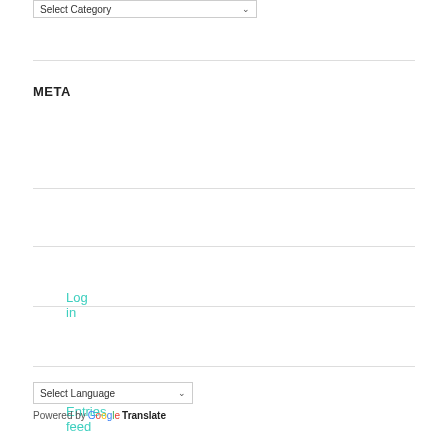Select Category
META
Log in
Entries feed
Comments feed
WordPress.org
Select Language
Powered by Google Translate